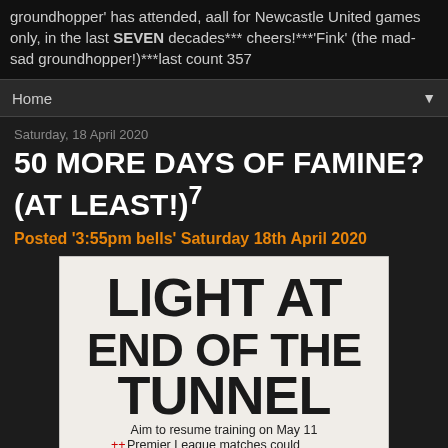groundhopper' has attended, aall for Newcastle United games only, in the last SEVEN decades*** cheers!***'Fink' (the mad-sad groundhopper!)***last count 357
Home ▼
Saturday, 18 April 2020
50 MORE DAYS OF FAMINE? (AT LEAST!)⁷
Posted '3:55pm bells' Saturday 18th April 2020
[Figure (photo): Newspaper clipping with bold headline reading 'LIGHT AT END OF THE TUNNEL' and subtext 'Aim to resume training on May 11 ++ Premier League matches could start four weeks later without f...']